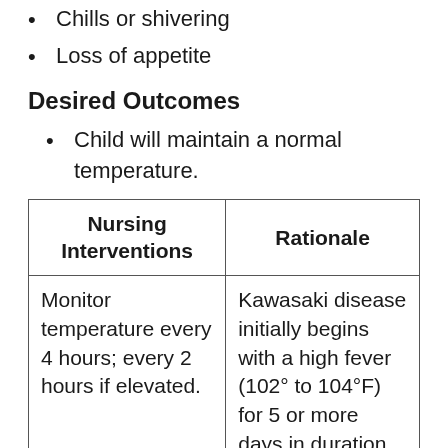Chills or shivering
Loss of appetite
Desired Outcomes
Child will maintain a normal temperature.
| Nursing Interventions | Rationale |
| --- | --- |
| Monitor temperature every 4 hours; every 2 hours if elevated. | Kawasaki disease initially begins with a high fever (102° to 104°F) for 5 or more days in duration. |